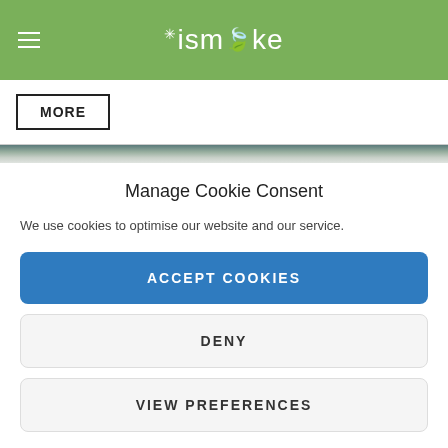ismoke
MORE
[Figure (photo): Narrow strip of a photo, partially visible at top of content area]
Manage Cookie Consent
We use cookies to optimise our website and our service.
ACCEPT COOKIES
DENY
VIEW PREFERENCES